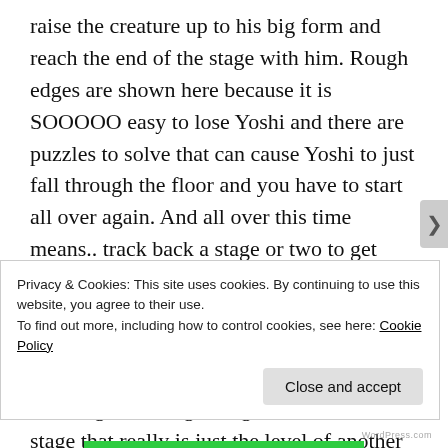raise the creature up to his big form and reach the end of the stage with him. Rough edges are shown here because it is SOOOOO easy to lose Yoshi and there are puzzles to solve that can cause Yoshi to just fall through the floor and you have to start all over again. And all over this time means.. track back a stage or two to get Yoshi back. It's more annoying than it is hard.... but we are still at Megaman 2 difficulties herre.. not the boss stages yet.. but the trickier regular stages.  If we make it through this stage we get an air combat stage that really is just the level of another game.. but the final boss has been replaced by two will smith stone heads with
Privacy & Cookies: This site uses cookies. By continuing to use this website, you agree to their use.
To find out more, including how to control cookies, see here: Cookie Policy
Close and accept